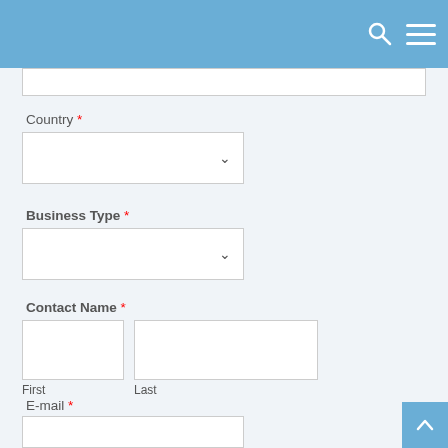Navigation header with search and menu icons
Country *
[Figure (other): Country dropdown select box]
Business Type *
[Figure (other): Business Type dropdown select box]
Contact Name *
[Figure (other): Contact Name input fields: First and Last]
E-mail *
[Figure (other): E-mail input field]